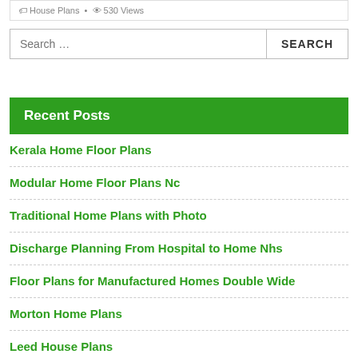House Plans · 530 Views
Search …
Recent Posts
Kerala Home Floor Plans
Modular Home Floor Plans Nc
Traditional Home Plans with Photo
Discharge Planning From Hospital to Home Nhs
Floor Plans for Manufactured Homes Double Wide
Morton Home Plans
Leed House Plans